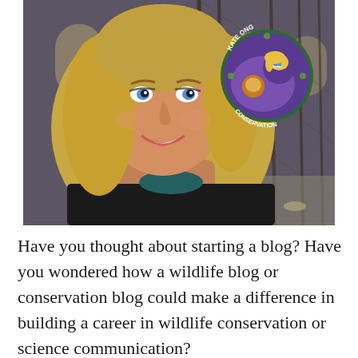[Figure (photo): A smiling blonde woman taking a selfie inside what appears to be a large hall with arched windows and netting. In the upper right corner is a circular logo reading 'Kate Ong Conservation' with cartoon illustrations of a lion, a person with blonde hair, and small animals on a purple and green background.]
Have you thought about starting a blog? Have you wondered how a wildlife blog or conservation blog could make a difference in building a career in wildlife conservation or science communication?